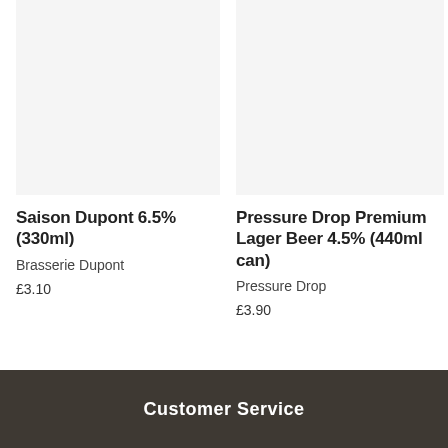[Figure (photo): Product image placeholder for Saison Dupont, light grey background]
Saison Dupont 6.5% (330ml)
Brasserie Dupont
£3.10
[Figure (photo): Product image placeholder for Pressure Drop Premium Lager Beer, light grey background]
Pressure Drop Premium Lager Beer 4.5% (440ml can)
Pressure Drop
£3.90
Customer Service